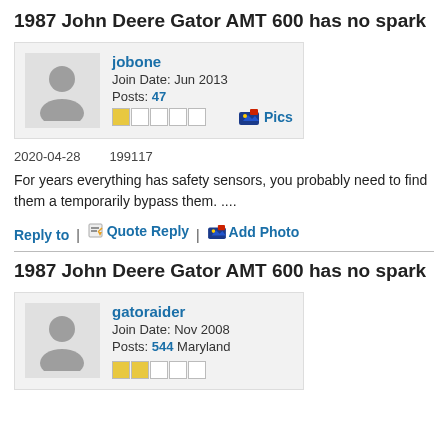1987 John Deere Gator AMT 600 has no spark
jobone
Join Date: Jun 2013
Posts: 47
2020-04-28    199117
For years everything has safety sensors, you probably need to find them a temporarily bypass them. ....
Reply to | Quote Reply | Add Photo
1987 John Deere Gator AMT 600 has no spark
gatoraider
Join Date: Nov 2008
Posts: 544 Maryland